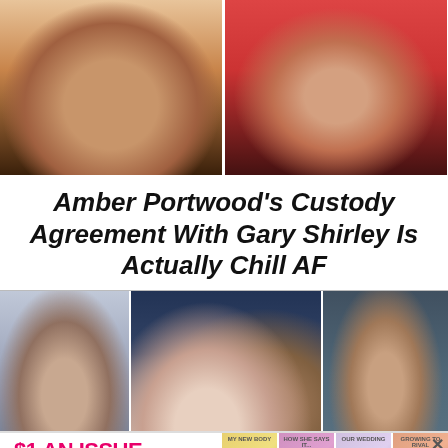[Figure (photo): Two side-by-side photos at top: left shows a woman from chin down wearing a black lace top, right shows a heavyset man in a red top at what appears to be a TV event]
Amber Portwood's Custody Agreement With Gary Shirley Is Actually Chill AF
[Figure (photo): Three-panel collage of photos: left blurred close-up of a person with glasses, center shows a woman with glasses and a bearded man with glasses taking a selfie, right shows a blurred close-up of a bearded man]
[Figure (infographic): Advertisement banner: $1 AN ISSUE with US magazine logo and SUBSCRIBE NOW button, with four magazine cover thumbnails on the right side and an X close button]